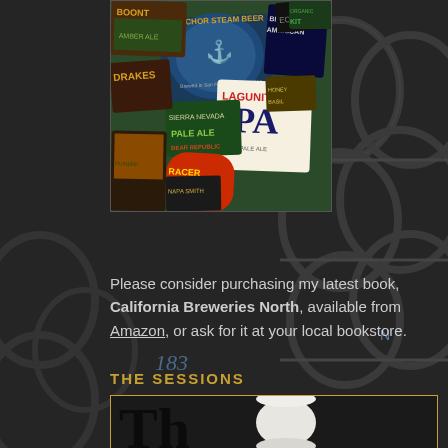[Figure (photo): Book cover collage of California beer labels including Anchor Steam Beer, Sierra Nevada Pale Ale, Lagunitas IPA, Bear Republic Racer 5, Boonville Boont Amber, Drake's, Bitter American, and other Northern California craft beer labels.]
Please consider purchasing my latest book, California Breweries North, available from Amazon, or ask for it at your local bookstore.
THE SESSIONS
[Figure (photo): Partial view of a book cover for 'The Sessions' showing a white cylindrical object (beer glass or mug) on a dark background, with large text partially visible on the left side.]